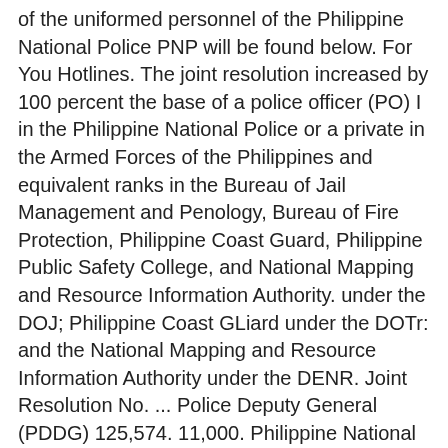of the uniformed personnel of the Philippine National Police PNP will be found below. For You Hotlines. The joint resolution increased by 100 percent the base of a police officer (PO) I in the Philippine National Police or a private in the Armed Forces of the Philippines and equivalent ranks in the Bureau of Jail Management and Penology, Bureau of Fire Protection, Philippine Coast Guard, Philippine Public Safety College, and National Mapping and Resource Information Authority. under the DOJ; Philippine Coast GLiard under the DOTr: and the National Mapping and Resource Information Authority under the DENR. Joint Resolution No. ... Police Deputy General (PDDG) 125,574. 11,000. Philippine National Police salary trends based on salaries posted anonymously by Philippine National Police employees. Mababa pa rin sa lower ranks. This PNP Salary Grade 2019 is part of the implementation of the Congress Joint Resolution Authorizing the Increase in the Base ... (BJMP), Bureau of Fire Protection (BFP), Philippine National Police (PNP), and Philippine Public Safety College (PPSC). President Rodrigo Roa Duterte signed a new law on January 8,